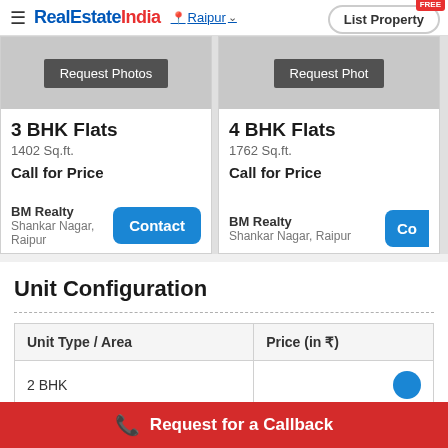RealEstateIndia — Raipur — List Property FREE
[Figure (screenshot): Property card for 3 BHK Flats, 1402 Sq.ft., Call for Price, BM Realty, Shankar Nagar Raipur, with Contact button]
[Figure (screenshot): Property card (partially visible) for 4 BHK Flats, 1762 Sq.ft., Call for Price, BM Realty, Shankar Nagar Raipur, with Contact button]
Unit Configuration
| Unit Type / Area | Price (in ₹) |
| --- | --- |
| 2 BHK |  |
Request for a Callback